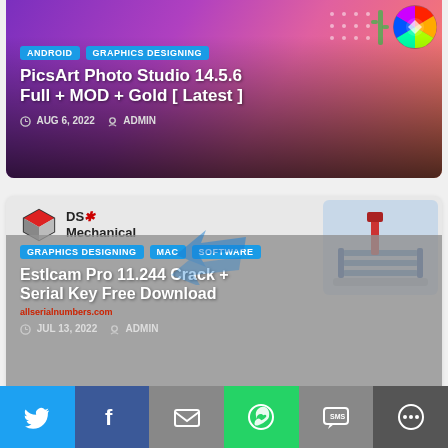[Figure (screenshot): PicsArt Photo Studio promotional banner with colorful gradient background, showing design elements, photo of girl, color wheel icon]
ANDROID
GRAPHICS DESIGNING
PicsArt Photo Studio 14.5.6 Full + MOD + Gold [ Latest ]
AUG 6, 2022   ADMIN
[Figure (screenshot): DS Mechanical logo with cube icon and machine tool image on right, Estlcam Pro software banner with arrow graphics]
GRAPHICS DESIGNING
MAC
SOFTWARE
Estlcam Pro 11.244 Crack + Serial Key Free Download
allserialnumbers.com
JUL 13, 2022   ADMIN
[Figure (infographic): Social share bar with Twitter, Facebook, Email, WhatsApp, SMS, and More buttons]